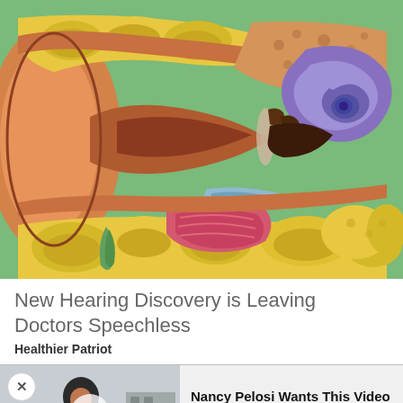[Figure (illustration): Detailed medical illustration of the inner ear anatomy cross-section, showing ear canal, eardrum, ossicles, cochlea (purple/blue snail shape), and surrounding tissue layers in orange, yellow, and brown tones against a green background.]
New Hearing Discovery is Leaving Doctors Speechless
Healthier Patriot
[Figure (photo): Advertisement showing a woman smiling in a black jacket standing outdoors, with a video play button overlay. Text reads: Nancy Pelosi Wants This Video Destroyed — Watch Now Before It's Banned - Ad]